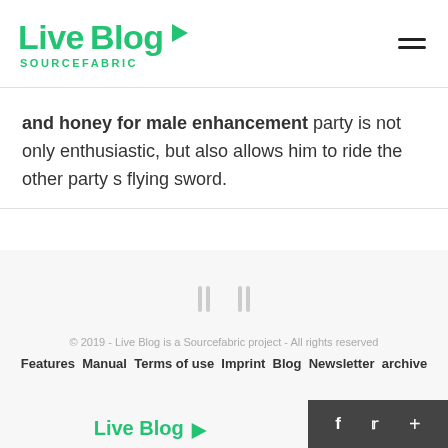Live Blog SOURCEFABRIC
and honey for male enhancement party is not only enthusiastic, but also allows him to ride the other party s flying sword.
© 2019 - Live Blog is a Sourcefabric project - All rights reserved
Features Manual Terms of use Imprint Blog Newsletter archive
Live Blog